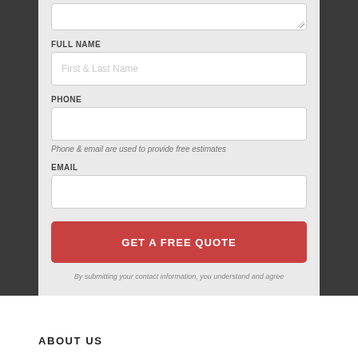FULL NAME
First & Last Name
PHONE
Phone & email are used to provide free estimates
EMAIL
GET A FREE QUOTE
By submitting your contact information, you understand and agree
ABOUT US